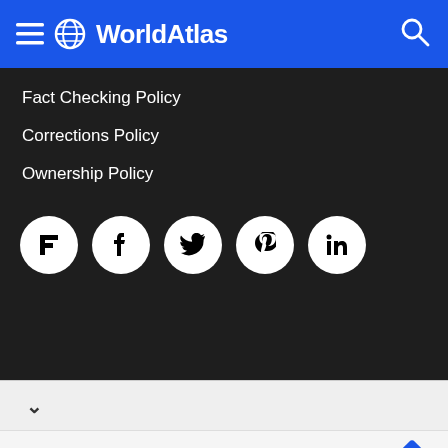WorldAtlas
Fact Checking Policy
Corrections Policy
Ownership Policy
[Figure (other): Social media icon buttons: Flipboard, Facebook, Twitter, Pinterest, LinkedIn — white circles on dark background]
[Figure (other): Advertisement bar: TopGolf logo, Dine-in checkmark, Delivery X mark, navigation arrow diamond]